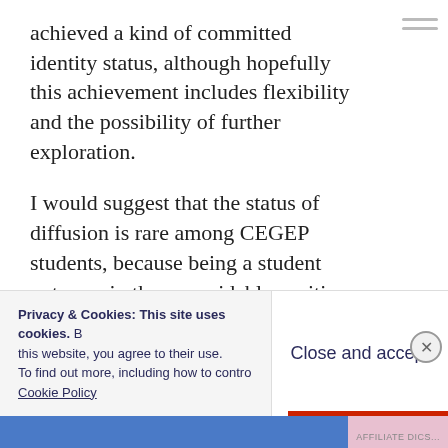achieved a kind of committed identity status, although hopefully this achievement includes flexibility and the possibility of further exploration.
I would suggest that the status of diffusion is rare among CEGEP students, because being a student puts one in the unavoidable position of exploring at least a few options (in any program, one is exposed to several different fields and ideas) and most students are not yet old or experienced
Privacy & Cookies: This site uses cookies. By continuing to use this website, you agree to their use. To find out more, including how to control cookies, see here: Cookie Policy
Close and accept